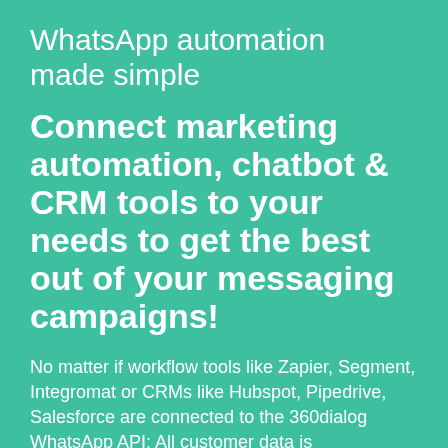WhatsApp automation made simple
Connect marketing automation, chatbot & CRM tools to your needs to get the best out of your messaging campaigns!
No matter if workflow tools like Zapier, Segment, Integromat or CRMs like Hubspot, Pipedrive, Salesforce are connected to the 360dialog WhatsApp API: All customer data is automatically synchronized bet...